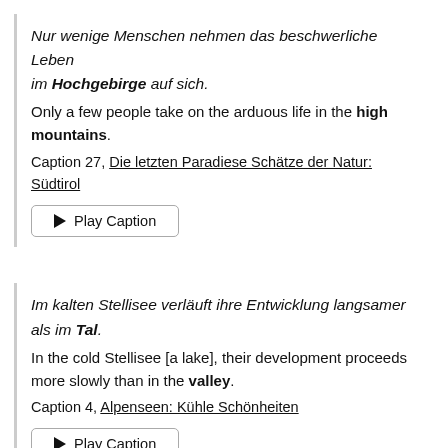Nur wenige Menschen nehmen das beschwerliche Leben im Hochgebirge auf sich.
Only a few people take on the arduous life in the high mountains.
Caption 27, Die letzten Paradiese Schätze der Natur: Südtirol
Im kalten Stellisee verläuft ihre Entwicklung langsamer als im Tal.
In the cold Stellisee [a lake], their development proceeds more slowly than in the valley.
Caption 4, Alpenseen: Kühle Schönheiten